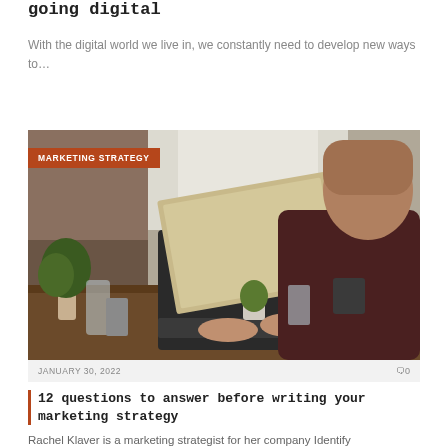going digital
With the digital world we live in, we constantly need to develop new ways to…
[Figure (photo): Person sitting at a wooden desk working on a laptop computer, with plants and a mug visible on the desk, photographed from behind at an angle. An orange badge reads MARKETING STRATEGY overlaid on the top-left of the image.]
JANUARY 30, 2022    🗨0
12 questions to answer before writing your marketing strategy
Rachel Klaver is a marketing strategist for her company Identify